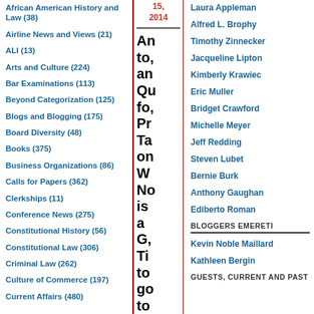African American History and Law (38)
Airline News and Views (21)
ALI (13)
Arts and Culture (224)
Bar Examinations (113)
Beyond Categorization (125)
Blogs and Blogging (175)
Board Diversity (48)
Books (375)
Business Organizations (86)
Calls for Papers (362)
Clerkships (11)
Conference News (275)
Constitutional History (56)
Constitutional Law (306)
Criminal Law (262)
Culture of Commerce (197)
Current Affairs (480)
15, 2014
An to, an Qu fo, Pr Ta on W No is a G, Ti to go to La Sc
Laura Appleman
Alfred L. Brophy
Timothy Zinnecker
Jacqueline Lipton
Kimberly Krawiec
Eric Muller
Bridget Crawford
Michelle Meyer
Jeff Redding
Steven Lubet
Bernie Burk
Anthony Gaughan
Ediberto Roman
BLOGGERS EMERETI
Kevin Noble Maillard
Kathleen Bergin
GUESTS, CURRENT AND PAST